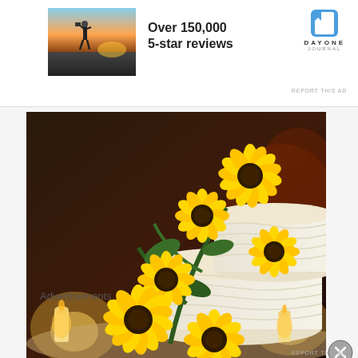[Figure (photo): Advertisement banner: photo of person photographing sunset, Day One Journal app ad with text 'Over 150,000 5-star reviews']
Over 150,000 5-star reviews
REPORT THIS AD
[Figure (photo): Large photo of a white tiered wedding cake decorated with yellow sunflowers, set against a dark warm-lit background with candles]
Advertisements
REPORT THIS AD